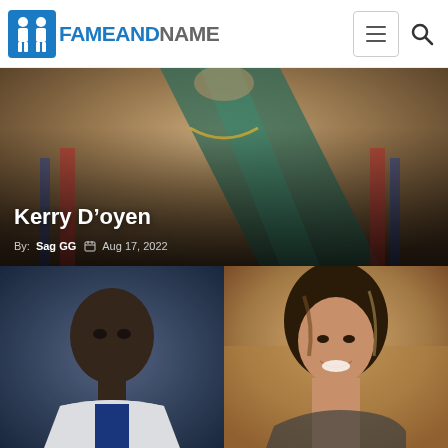[Figure (logo): FameAndName website logo with blue silhouette figures icon and blue/gray text]
[Figure (photo): Hero image of an athlete wearing medals and a sash, with overlay text]
Kerry D'oyen
By: Sag GG  Aug 17, 2022
[Figure (photo): Left panel: photo of a male basketball player in USA jersey. Right panel: photo of a smiling woman with dark hair.]